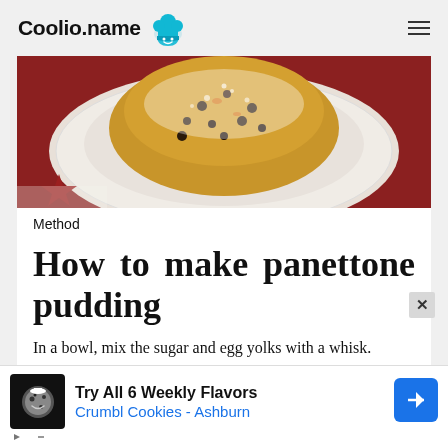Coolio.name
[Figure (photo): A panettone pudding dusted with powdered sugar on a decorative white plate, placed on a red napkin with a red star decoration]
Method
How to make panettone pudding
In a bowl, mix the sugar and egg yolks with a whisk.
[Figure (screenshot): Advertisement banner: Try All 6 Weekly Flavors Crumbl Cookies - Ashburn]